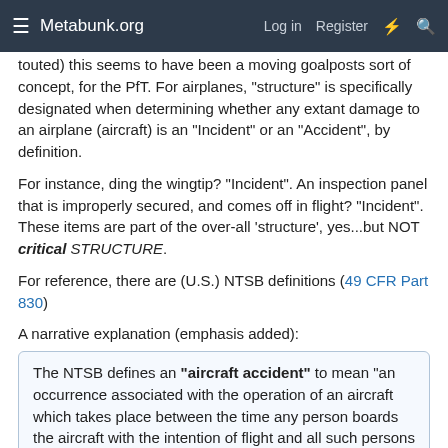Metabunk.org  Log in  Register
touted) this seems to have been a moving goalposts sort of concept, for the PfT. For airplanes, "structure" is specifically designated when determining whether any extant damage to an airplane (aircraft) is an "Incident" or an "Accident", by definition.
For instance, ding the wingtip? "Incident". An inspection panel that is improperly secured, and comes off in flight? "Incident". These items are part of the over-all 'structure', yes...but NOT critical STRUCTURE.
For reference, there are (U.S.) NTSB definitions (49 CFR Part 830)
A narrative explanation (emphasis added):
The NTSB defines an "aircraft accident" to mean "an occurrence associated with the operation of an aircraft which takes place between the time any person boards the aircraft with the intention of flight and all such persons have